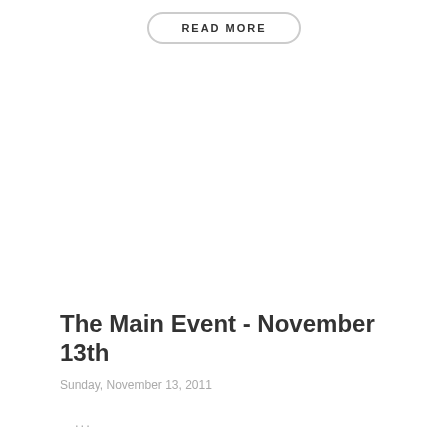READ MORE
The Main Event - November 13th
Sunday, November 13, 2011
...